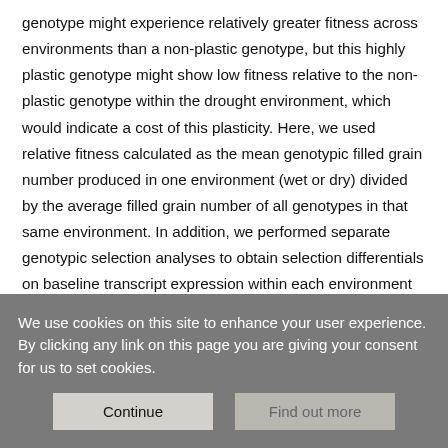genotype might experience relatively greater fitness across environments than a non-plastic genotype, but this highly plastic genotype might show low fitness relative to the non-plastic genotype within the drought environment, which would indicate a cost of this plasticity. Here, we used relative fitness calculated as the mean genotypic filled grain number produced in one environment (wet or dry) divided by the average filled grain number of all genotypes in that same environment. In addition, we performed separate genotypic selection analyses to obtain selection differentials on baseline transcript expression within each environment using the formula: W_{j,k} = Constant_k + a_k * Z_{j,k}.
All genotypic selection analyses were performed in R v. 3.6.3 (R
We use cookies on this site to enhance your user experience. By clicking any link on this page you are giving your consent for us to set cookies.